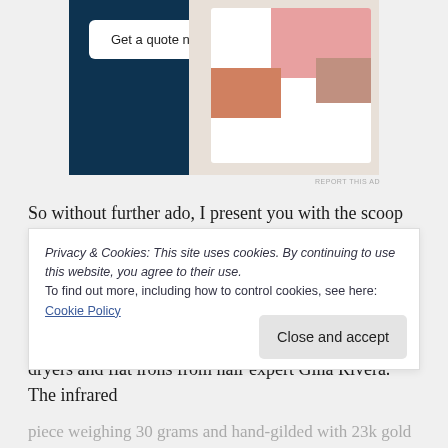[Figure (screenshot): Advertisement showing a dark navy background with a 'Get a quote now' white button, and a mockup of a website with pink/beige photo blocks on the right side.]
REPORT THIS AD
So without further ado, I present you with the scoop on some of the coolest toys, tools and treats I found inside the exclusive star-studded GRAMMYs gift lounge:
Tools By Gina – Pure infrared professional blow dryers and flat irons from hair expert Gina Rivera. The infrared
Privacy & Cookies: This site uses cookies. By continuing to use this website, you agree to their use.
To find out more, including how to control cookies, see here: Cookie Policy
Close and accept
piece weighing 30 grams and hand-gilded with 23k gold leaf. It